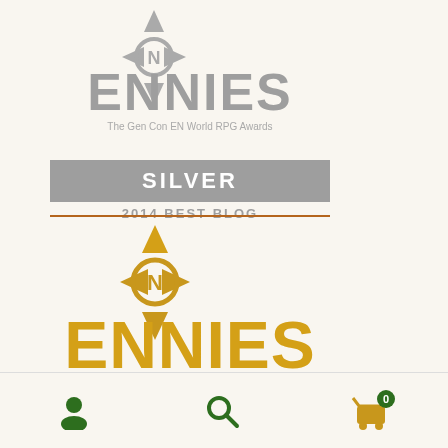[Figure (logo): ENnies Silver award badge - The Gen Con EN World RPG Awards, 2014 Best Blog]
[Figure (logo): ENnies Nominee award badge - The Gen Con EN World RPG Awards, gold colored logo]
2019 BEST DESIGN & LAYOUT
2018 BEST WEBSITE
2017 BEST WEBSITE
2016 PRODUCT OF THE YEAR
2016 BEST WEBSITE
[Figure (infographic): Bottom navigation bar with user icon, search icon, and shopping cart icon with badge showing 0]